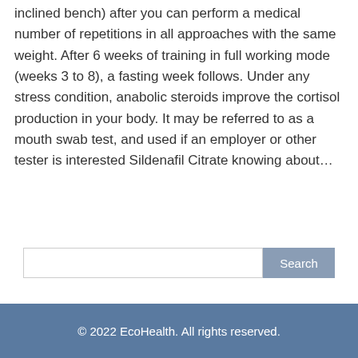inclined bench) after you can perform a medical number of repetitions in all approaches with the same weight. After 6 weeks of training in full working mode (weeks 3 to 8), a fasting week follows. Under any stress condition, anabolic steroids improve the cortisol production in your body. It may be referred to as a mouth swab test, and used if an employer or other tester is interested Sildenafil Citrate knowing about…
Search
© 2022 EcoHealth. All rights reserved.